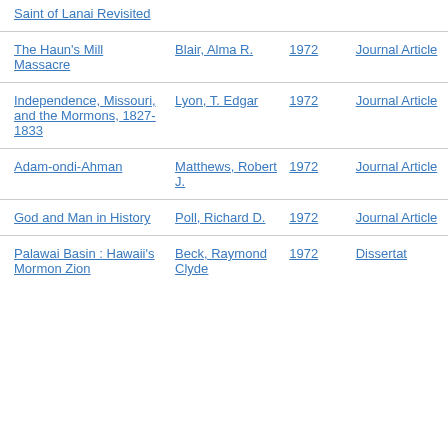| Title | Author | Year | Type |
| --- | --- | --- | --- |
| Saint of Lanai Revisited |  |  |  |
| The Haun's Mill Massacre | Blair, Alma R. | 1972 | Journal Article |
| Independence, Missouri, and the Mormons, 1827-1833 | Lyon, T. Edgar | 1972 | Journal Article |
| Adam-ondi-Ahman | Matthews, Robert J. | 1972 | Journal Article |
| God and Man in History | Poll, Richard D. | 1972 | Journal Article |
| Palawai Basin : Hawaii's Mormon Zion | Beck, Raymond Clyde | 1972 | Dissertat... |